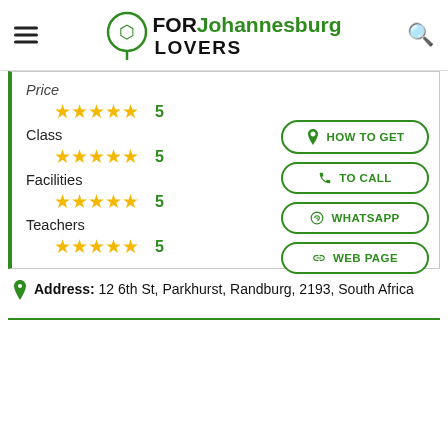FOR Johannesburg LOVERS
Price ★★★★★ 5
Class ★★★★★ 5
Facilities ★★★★★ 5
Teachers ★★★★★ 5
HOW TO GET
TO CALL
WHATSAPP
WEB PAGE
Address: 12 6th St, Parkhurst, Randburg, 2193, South Africa